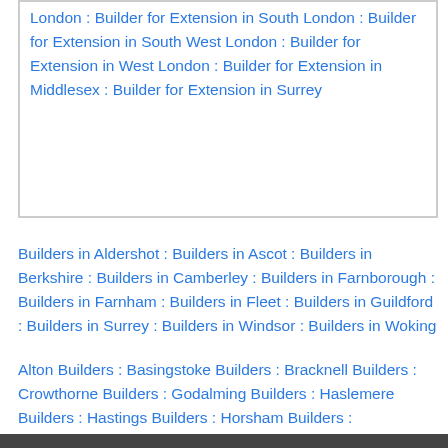London : Builder for Extension in South London : Builder for Extension in South West London : Builder for Extension in West London : Builder for Extension in Middlesex : Builder for Extension in Surrey
Builders in Aldershot : Builders in Ascot : Builders in Berkshire : Builders in Camberley : Builders in Farnborough : Builders in Farnham : Builders in Fleet : Builders in Guildford : Builders in Surrey : Builders in Windsor : Builders in Woking
Alton Builders : Basingstoke Builders : Bracknell Builders : Crowthorne Builders : Godalming Builders : Haslemere Builders : Hastings Builders : Horsham Builders : Leatherhead Builders : Staines Builders